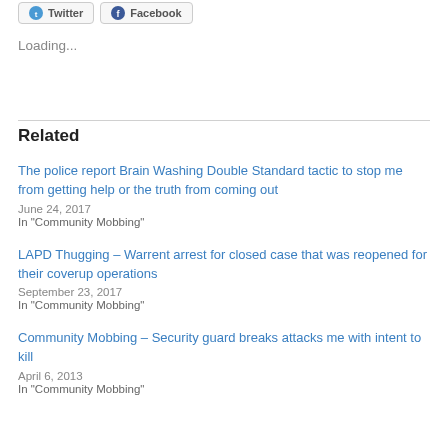Loading...
Related
The police report Brain Washing Double Standard tactic to stop me from getting help or the truth from coming out
June 24, 2017
In "Community Mobbing"
LAPD Thugging – Warrent arrest for closed case that was reopened for their coverup operations
September 23, 2017
In "Community Mobbing"
Community Mobbing – Security guard breaks attacks me with intent to kill
April 6, 2013
In "Community Mobbing"